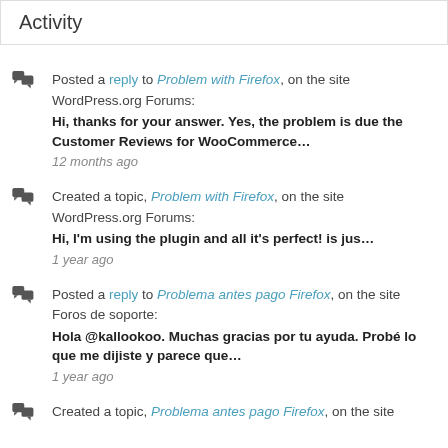Activity
Posted a reply to Problem with Firefox, on the site WordPress.org Forums: Hi, thanks for your answer. Yes, the problem is due the Customer Reviews for WooCommerce… 12 months ago
Created a topic, Problem with Firefox, on the site WordPress.org Forums: Hi, I'm using the plugin and all it's perfect! is jus… 1 year ago
Posted a reply to Problema antes pago Firefox, on the site Foros de soporte: Hola @kallookoo. Muchas gracias por tu ayuda. Probé lo que me dijiste y parece que… 1 year ago
Created a topic, Problema antes pago Firefox, on the site